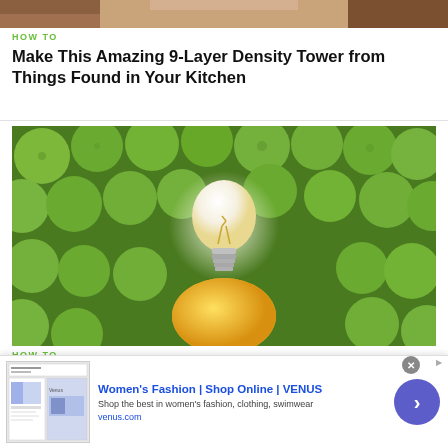[Figure (photo): Cropped top portion of a food/cooking article image]
HOW TO
Make This Amazing 9-Layer Density Tower from Things Found in Your Kitchen
[Figure (photo): A glowing light bulb placed on top of a lemon, surrounded by many green limes/lemons]
HOW TO
The Best Investigatory Projects in Science: 16 Fun & Easy Ideas to Kickstart Your Project
[Figure (infographic): Advertisement banner for Women's Fashion Shop Online VENUS. Shows website screenshot thumbnail, ad title 'Women's Fashion | Shop Online | VENUS', subtitle 'Shop the best in women's fashion, clothing, swimwear', URL venus.com, and a blue arrow circle button.]